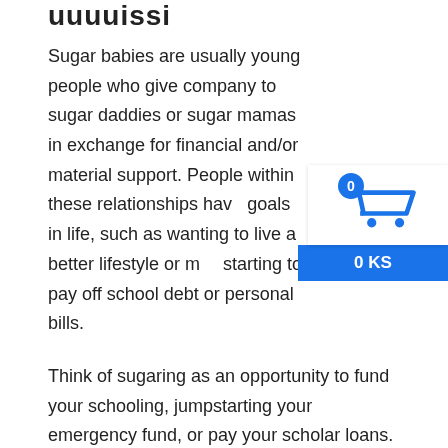uuuuissi
Sugar babies are usually young people who give company to sugar daddies or sugar mamas in exchange for financial and/or material support. People within these relationships have goals in life, such as wanting to live a better lifestyle or m… starting to pay off school debt or personal bills.
[Figure (infographic): Shopping cart icon with badge showing 0, and a blue bar showing '0 KS']
Think of sugaring as an opportunity to fund your schooling, jumpstarting your emergency fund, or pay your scholar loans. If you desire a more conventional job in this line of industry, you can check out webcamming, OnlyFans, or flirting on-line. Vacationing in the Bahamas or cruising the world on a yacht is unthinkable if you don't have the financial power to do these luxurious activities. But with the assistance of a beneficiant SD, this is just about attainable. You can experience holidays and trips by accompanying your sugar daddy on his travels and vacations. Monetary positive aspects are in all probability thought of the most important incentive in sugar dating.